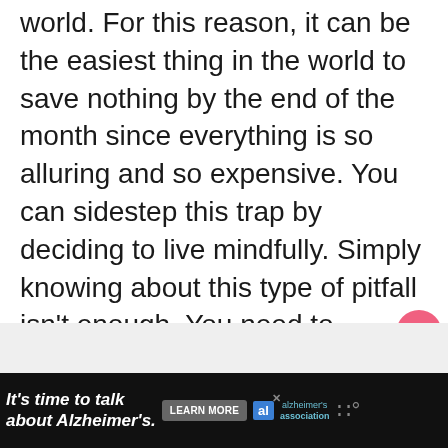world. For this reason, it can be the easiest thing in the world to save nothing by the end of the month since everything is so alluring and so expensive. You can sidestep this trap by deciding to live mindfully. Simply knowing about this type of pitfall isn't enough. You need to consciously keep this in mind and live a bit more conservatively, financially-speaking, than you might be tempted to. You can still have a very good life. Just not to the entire extent you might want to!
[Figure (other): Heart/like button (pink circle with heart icon), share button with count 2, and a 'WHAT'S NEXT' teaser showing '4 More Ways to Save Money']
[Figure (other): Advertisement banner: black background with white italic text 'It's time to talk about Alzheimer's.' with a Learn More button, Alzheimer's Association logo, and wireless signal icon]